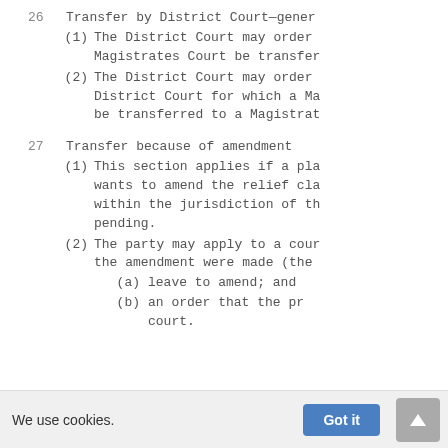26    Transfer by District Court—gener
(1) The District Court may order Magistrates Court be transfer
(2) The District Court may order District Court for which a Ma be transferred to a Magistrat
27    Transfer because of amendment
(1) This section applies if a pla wants to amend the relief cla within the jurisdiction of th pending.
(2) The party may apply to a cour the amendment were made (the
(a)    leave to amend; and
(b)    an order that the pr court.
We use cookies.